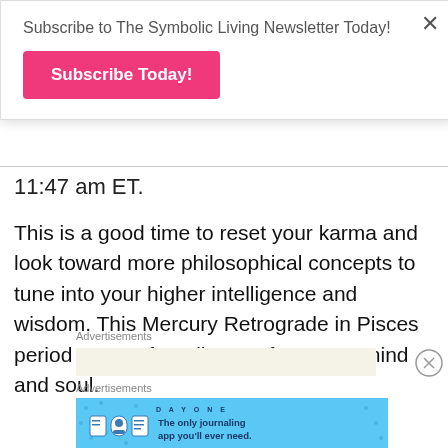Subscribe to The Symbolic Living Newsletter Today!
Subscribe Today!
11:47 am ET.
This is a good time to reset your karma and look toward more philosophical concepts to tune into your higher intelligence and wisdom. This Mercury Retrograde in Pisces period can profoundly transform your mind and soul.
Advertisements
Advertisements
[Figure (screenshot): DAY ONE journaling app advertisement banner with blue background, icons and tagline 'The only journaling app you'll ever need.']